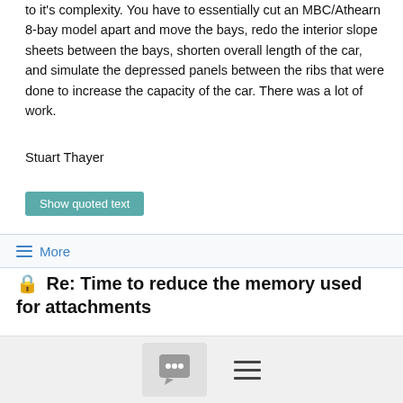to it's complexity.  You have to essentially cut an MBC/Athearn 8-bay model apart and move the bays, redo the interior slope sheets between the bays, shorten overall length of the car, and simulate the depressed panels between the ribs that were done to increase the capacity of the car.  There was a lot of work.
Stuart Thayer
Show quoted text
≡ More
🔒 Re: Time to reduce the memory used for attachments
Arthur J Bryson  11/23/19
I find the attachments very useful and understand the need to delete.  Keep doing what needs to bedone.